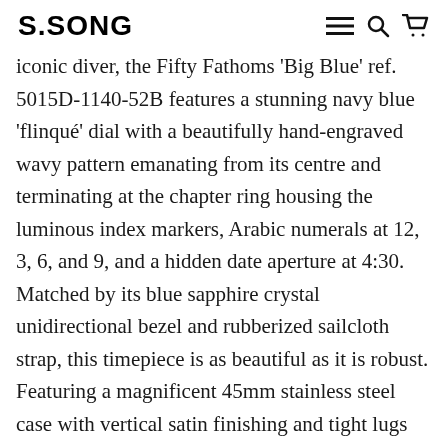S.SONG
iconic diver, the Fifty Fathoms 'Big Blue' ref. 5015D-1140-52B features a stunning navy blue 'flinqué' dial with a beautifully hand-engraved wavy pattern emanating from its centre and terminating at the chapter ring housing the luminous index markers, Arabic numerals at 12, 3, 6, and 9, and a hidden date aperture at 4:30. Matched by its blue sapphire crystal unidirectional bezel and rubberized sailcloth strap, this timepiece is as beautiful as it is robust.
Featuring a magnificent 45mm stainless steel case with vertical satin finishing and tight lugs with a comfortable taper along the wrist, the Fifty Fathoms "Big Blue" ref. 5015D-1140-52B wears fantastically given its beefy dive watch dimensions. Unparalleled with their craftsmanship, Blancpain has designed this timepiece with security in